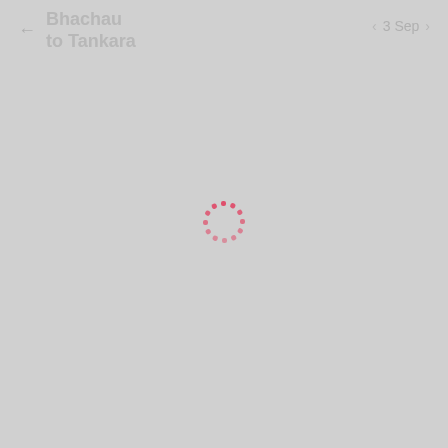← Bhachau to Tankara   3 Sep
[Figure (other): Loading spinner — dashed red circle of dots indicating content is loading, centered on the page]